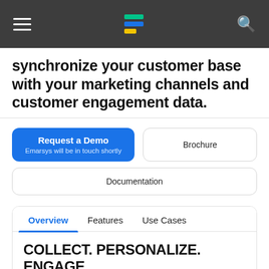Emarsys navigation bar with hamburger menu and search icon
synchronize your customer base with your marketing channels and customer engagement data.
Request a Demo
Emarsys will be in touch shortly
Brochure
Documentation
Overview | Features | Use Cases
COLLECT. PERSONALIZE. ENGAGE.